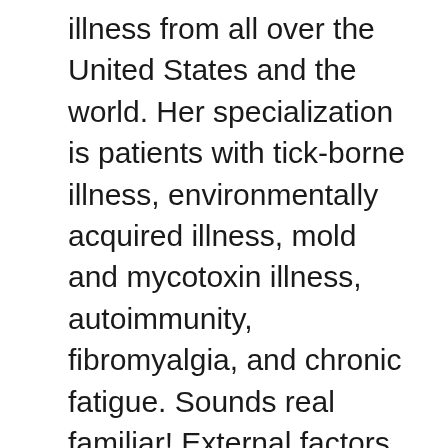illness from all over the United States and the world. Her specialization is patients with tick-borne illness, environmentally acquired illness, mold and mycotoxin illness, autoimmunity, fibromyalgia, and chronic fatigue. Sounds real familiar! External factors to the body, such as environmental toxic burden, pathogens, diet, and lifestyle affect the balance of internal factors (and we'll talk a little bit about that today); over or under expression of immunity, infection susceptibility, epigenetic expression, and cellular and biochemical function, mood